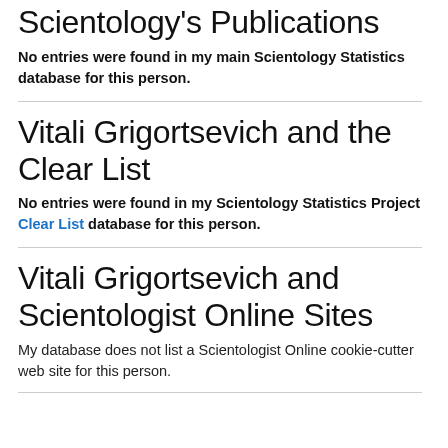Scientology's Publications
No entries were found in my main Scientology Statistics database for this person.
Vitali Grigortsevich and the Clear List
No entries were found in my Scientology Statistics Project Clear List database for this person.
Vitali Grigortsevich and Scientologist Online Sites
My database does not list a Scientologist Online cookie-cutter web site for this person.